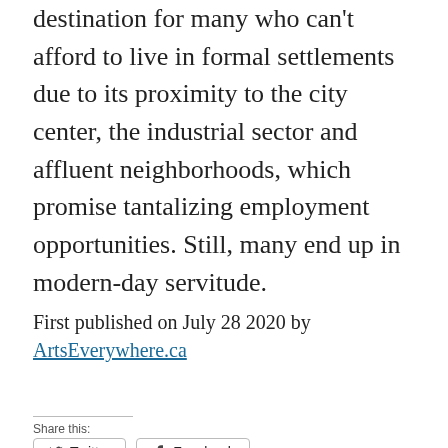destination for many who can't afford to live in formal settlements due to its proximity to the city center, the industrial sector and affluent neighborhoods, which promise tantalizing employment opportunities. Still, many end up in modern-day servitude.
First published on July 28 2020 by ArtsEverywhere.ca
Share this:
Twitter  Facebook
Loading...